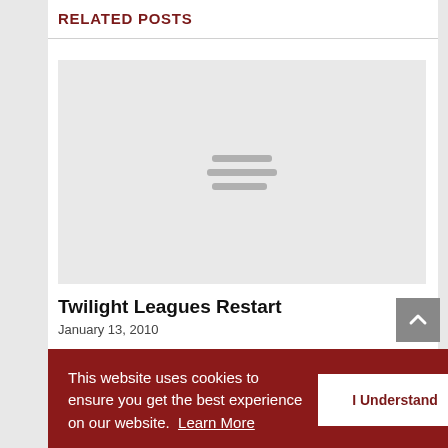RELATED POSTS
[Figure (illustration): Placeholder image with three horizontal grey lines in the center on a light grey background]
Twilight Leagues Restart
January 13, 2010
This website uses cookies to ensure you get the best experience on our website. Learn More